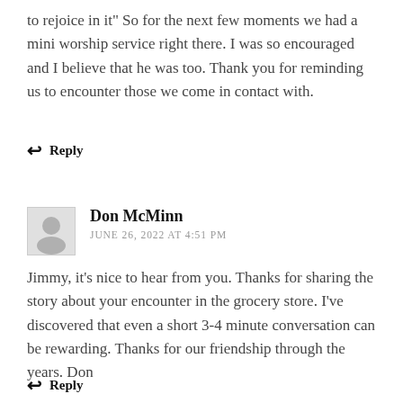to rejoice in it" So for the next few moments we had a mini worship service right there. I was so encouraged and I believe that he was too. Thank you for reminding us to encounter those we come in contact with.
↩ Reply
Don McMinn
JUNE 26, 2022 AT 4:51 PM
Jimmy, it's nice to hear from you. Thanks for sharing the story about your encounter in the grocery store. I've discovered that even a short 3-4 minute conversation can be rewarding. Thanks for our friendship through the years. Don
↩ Reply